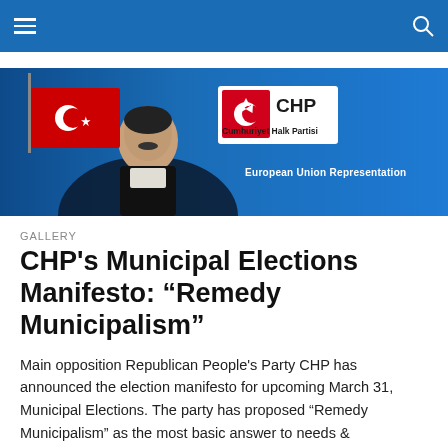[Figure (illustration): CHP (Cumhuriyet Halk Partisi) banner with party logo on blue background. Shows CHP logo with red/white crescent symbol, text 'CHP Cumhuriyet Halk Partisi', 'European Union Representation', and a photo of a man in a suit with Turkish flag.]
GALLERY
CHP's Municipal Elections Manifesto: “Remedy Municipalism”
Main opposition Republican People's Party CHP has announced the election manifesto for upcoming March 31, Municipal Elections. The party has proposed “Remedy Municipalism” as the most basic answer to needs &